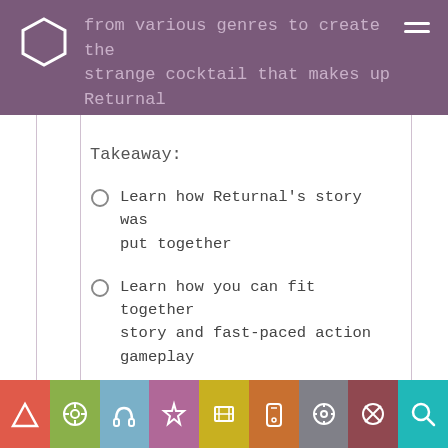from various genres to create the strange cocktail that makes up Returnal
Takeaway:
Learn how Returnal's story was put together
Learn how you can fit together story and fast-paced action gameplay
Learn techniques to craft mysterious and ambiguous stories